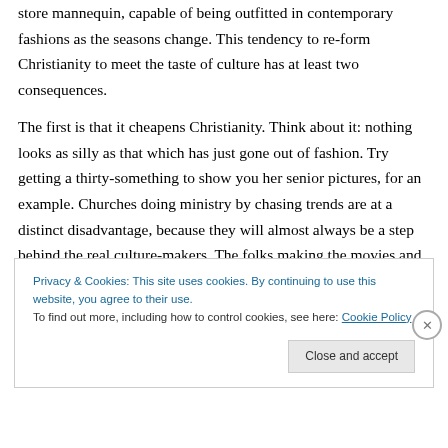store mannequin, capable of being outfitted in contemporary fashions as the seasons change. This tendency to re-form Christianity to meet the taste of culture has at least two consequences.
The first is that it cheapens Christianity. Think about it: nothing looks as silly as that which has just gone out of fashion. Try getting a thirty-something to show you her senior pictures, for an example. Churches doing ministry by chasing trends are at a distinct disadvantage, because they will almost always be a step behind the real culture-makers. The folks making the movies and music will
Privacy & Cookies: This site uses cookies. By continuing to use this website, you agree to their use.
To find out more, including how to control cookies, see here: Cookie Policy
Close and accept